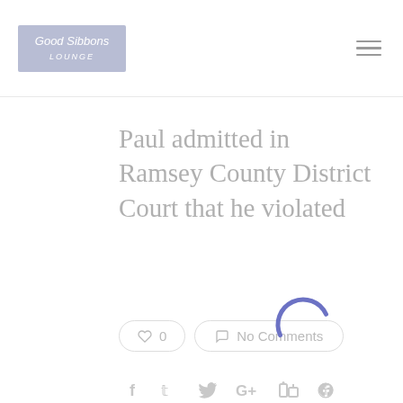Good Sibbons [logo] | hamburger menu
Paul admitted in Ramsey County District Court that he violated
[Figure (other): Like button showing heart icon and 0 count; No Comments button; loading spinner overlay (blue arc)]
[Figure (other): Social sharing icons row: Facebook (f), Twitter, Google+, LinkedIn (in), Pinterest]
Sidetracks (218 Water St. W., 295 3080) may buy your old CDs, DVDs,